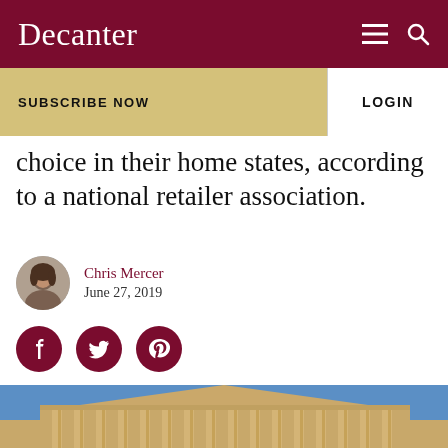Decanter
SUBSCRIBE NOW
LOGIN
choice in their home states, according to a national retailer association.
Chris Mercer
June 27, 2019
[Figure (photo): Photo of a classical government building with large columns under a blue sky, resembling the US Supreme Court.]